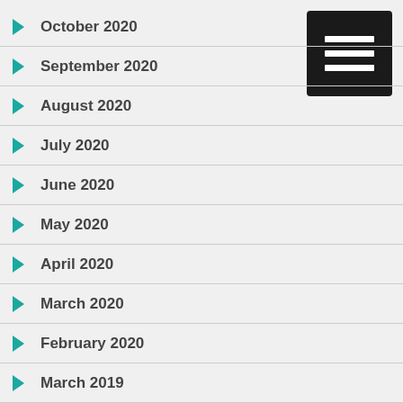October 2020
September 2020
August 2020
July 2020
June 2020
May 2020
April 2020
March 2020
February 2020
March 2019
March 2018
September 2015